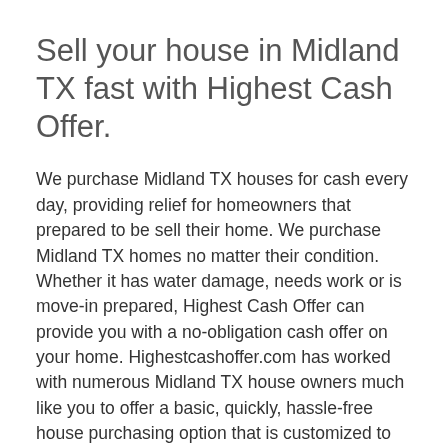Sell your house in Midland TX fast with Highest Cash Offer.
We purchase Midland TX houses for cash every day, providing relief for homeowners that prepared to be sell their home. We purchase Midland TX homes no matter their condition. Whether it has water damage, needs work or is move-in prepared, Highest Cash Offer can provide you with a no-obligation cash offer on your home. Highestcashoffer.com has worked with numerous Midland TX house owners much like you to offer a basic, quickly, hassle-free house purchasing option that is customized to fulfill your specific needs. You will have your money within days and have the ability to walk away from your undesirable